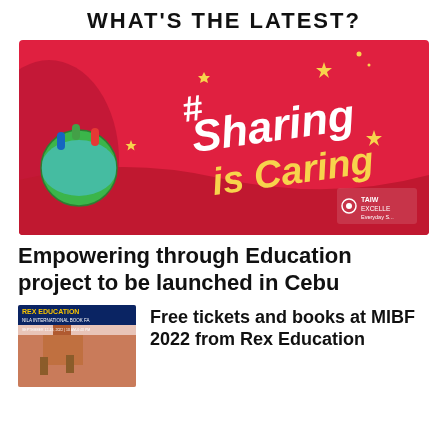WHAT'S THE LATEST?
[Figure (illustration): Red promotional banner with white and yellow handwritten text '#Sharing is Caring', people holding a globe illustration, and Taiwan Excellence logo in the bottom right corner.]
Empowering through Education project to be launched in Cebu
[Figure (photo): Rex Education at Manila International Book Fair promotional image thumbnail.]
Free tickets and books at MIBF 2022 from Rex Education